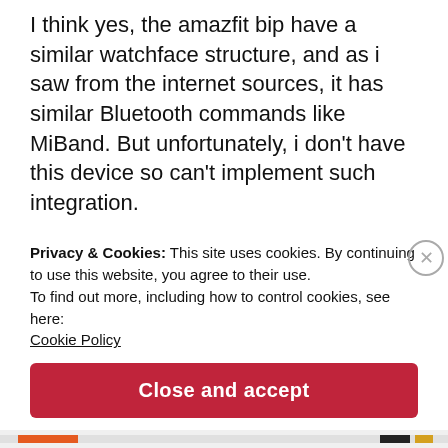I think yes, the amazfit bip have a similar watchface structure, and as i saw from the internet sources, it has similar Bluetooth commands like MiBand. But unfortunately, i don't have this device so can't implement such integration.
★ Like
Reply
Privacy & Cookies: This site uses cookies. By continuing to use this website, you agree to their use.
To find out more, including how to control cookies, see here:
Cookie Policy
Close and accept